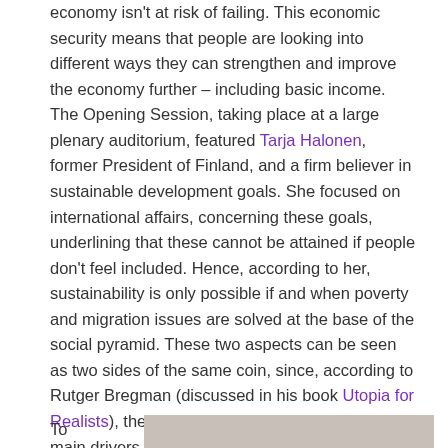economy isn't at risk of failing. This economic security means that people are looking into different ways they can strengthen and improve the economy further – including basic income. The Opening Session, taking place at a large plenary auditorium, featured Tarja Halonen, former President of Finland, and a firm believer in sustainable development goals. She focused on international affairs, concerning these goals, underlining that these cannot be attained if people don't feel included. Hence, according to her, sustainability is only possible if and when poverty and migration issues are solved at the base of the social pyramid. These two aspects can be seen as two sides of the same coin, since, according to Rutger Bregman (discussed in his book Utopia for Realists), the existence of borders is one of the main drivers of poverty across the world. However, as Tarja puts it, poverty is a difficult issue to talk about, since it involves a considerable amount of shame.
To
[Figure (photo): Partially visible photo at the bottom right of the page]